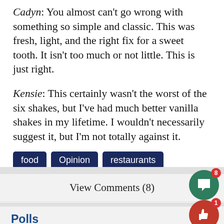Cadyn: You almost can't go wrong with something so simple and classic. This was fresh, light, and the right fix for a sweet tooth. It isn't too much or not little. This is just right.
Kensie: This certainly wasn't the worst of the six shakes, but I've had much better vanilla shakes in my lifetime. I wouldn't necessarily suggest it, but I'm not totally against it.
food
Opinion
restaurants
reviews
View Comments (8)
Polls